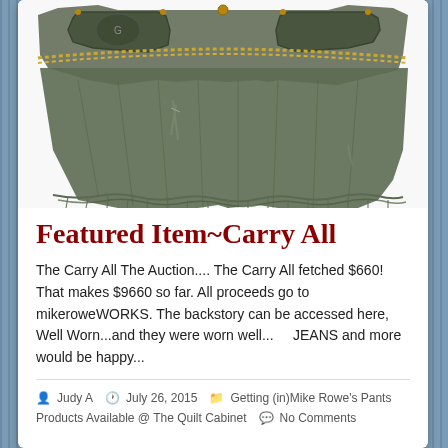[Figure (photo): Photo of a distressed denim mini skirt with chain belt on white background]
Featured Item~Carry All
The Carry All The Auction.... The Carry All fetched $660! That makes $9660 so far. All proceeds go to mikeroweWORKS. The backstory can be accessed here, Well Worn...and they were worn well...    JEANS and more would be happy...
Judy A  July 26, 2015  Getting (in)Mike Rowe's Pants  Products Available @ The Quilt Cabinet  No Comments